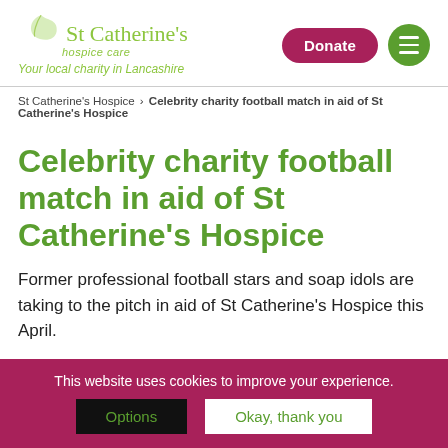St Catherine's hospice care — Your local charity in Lancashire
St Catherine's Hospice > Celebrity charity football match in aid of St Catherine's Hospice
Celebrity charity football match in aid of St Catherine's Hospice
Former professional football stars and soap idols are taking to the pitch in aid of St Catherine's Hospice this April.
This website uses cookies to improve your experience.